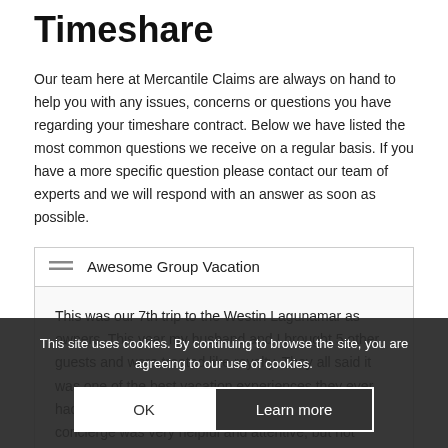Timeshare
Our team here at Mercantile Claims are always on hand to help you with any issues, concerns or questions you have regarding your timeshare contract. Below we have listed the most common questions we receive on a regular basis. If you have a more specific question please contact our team of experts and we will respond with an answer as soon as possible.
Awesome Group Vacation
This was our 7th trip to the Westin Lagunamar as owners. This year my husband and I brought 5 other guests and were treated like royalty. They all said it was one of the best vacation experiences they ever had. The rooms are never disappointing. Our concierge was very helpful and attentive, but not ovemeaning. The bar, pool service are always available to... The complex is lovely,
This site uses cookies. By continuing to browse the site, you are agreeing to our use of cookies.